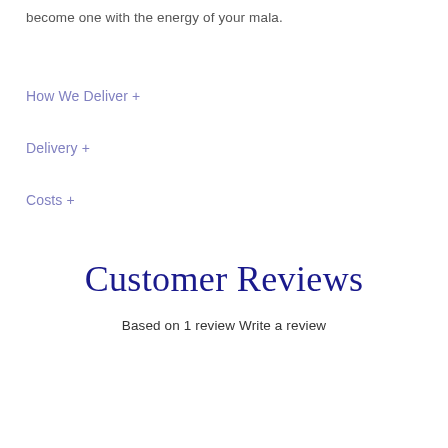become one with the energy of your mala.
How We Deliver +
Delivery +
Costs +
Customer Reviews
Based on 1 review Write a review